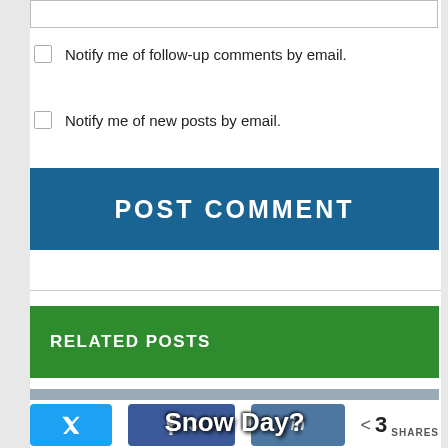[Figure (screenshot): Text input box at top of page]
Notify me of follow-up comments by email.
Notify me of new posts by email.
[Figure (screenshot): POST COMMENT button in blue]
RELATED POSTS
[Figure (photo): Snow Day? image with person with curly hair on grey background and blue block bottom right]
[Figure (screenshot): Social share bar with Twitter button, Facebook button with count 3, LinkedIn button, and share count showing < 3 SHARES]